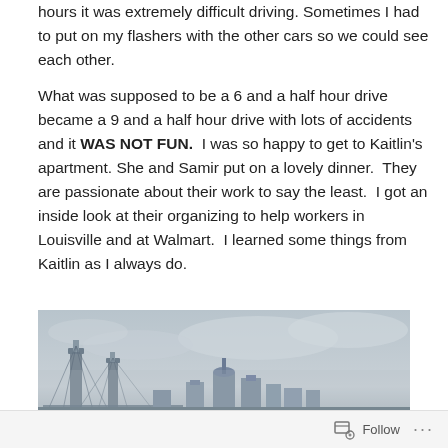hours it was extremely difficult driving. Sometimes I had to put on my flashers with the other cars so we could see each other.
What was supposed to be a 6 and a half hour drive became a 9 and a half hour drive with lots of accidents and it WAS NOT FUN.  I was so happy to get to Kaitlin’s apartment. She and Samir put on a lovely dinner.  They are passionate about their work to say the least.  I got an inside look at their organizing to help workers in Louisville and at Walmart.  I learned some things from Kaitlin as I always do.
[Figure (photo): A cityscape photo showing the Louisville skyline with a suspension bridge in the foreground under a grey overcast sky. The image is partially cut off at the bottom.]
Follow ···